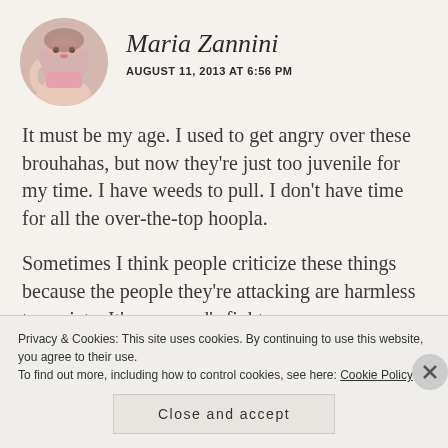Maria Zannini
AUGUST 11, 2013 AT 6:56 PM
It must be my age. I used to get angry over these brouhahas, but now they're just too juvenile for my time. I have weeds to pull. I don't have time for all the over-the-top hoopla.
Sometimes I think people criticize these things because the people they're attacking are harmless to society. It's a coward's fight.
Privacy & Cookies: This site uses cookies. By continuing to use this website, you agree to their use.
To find out more, including how to control cookies, see here: Cookie Policy
Close and accept